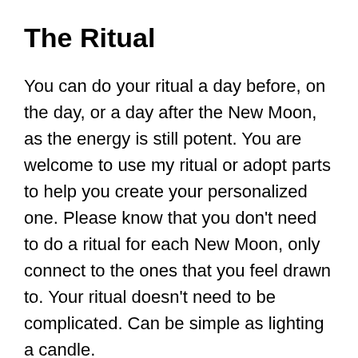The Ritual
You can do your ritual a day before, on the day, or a day after the New Moon, as the energy is still potent. You are welcome to use my ritual or adopt parts to help you create your personalized one. Please know that you don't need to do a ritual for each New Moon, only connect to the ones that you feel drawn to. Your ritual doesn't need to be complicated. Can be simple as lighting a candle.
As with any ritual, create sacred space for yourself to connect with your Higher-SELF. Depending on your New Moon traditions